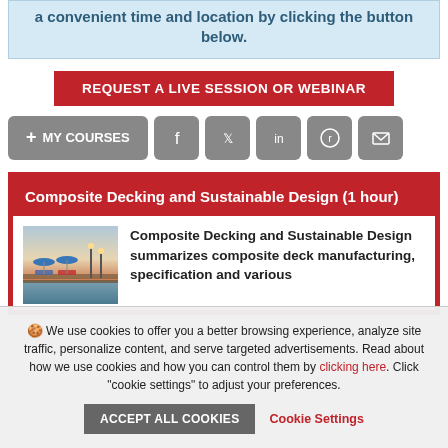a convenient time and location by clicking the button below.
REQUEST A LIVE SESSION OR WEBINAR
+ MY COURSES
Composite Decking and Sustainable Design (1 hour)
[Figure (photo): Photo of a composite deck near water with lounge chairs and umbrellas at dusk]
Composite Decking and Sustainable Design summarizes composite deck manufacturing, specification and various
We use cookies to offer you a better browsing experience, analyze site traffic, personalize content, and serve targeted advertisements. Read about how we use cookies and how you can control them by clicking here. Click "cookie settings" to adjust your preferences.
ACCEPT ALL COOKIES
Cookie Settings